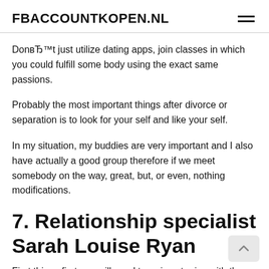FBACCOUNTKOPEN.NL
DonвЂ™t just utilize dating apps, join classes in which you could fulfill some body using the exact same passions.
Probably the most important things after divorce or separation is to look for your self and like your self.
In my situation, my buddies are very important and I also have actually a good group therefore if we meet somebody on the way, great, but, or even, nothing modifications.
7. Relationship specialist Sarah Louise Ryan
First things first you will need to arrive at grips with the manner in